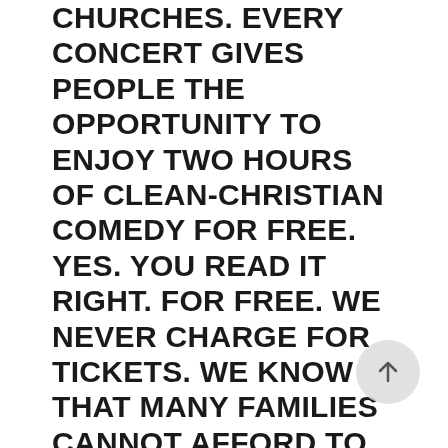CHURCHES. EVERY CONCERT GIVES PEOPLE THE OPPORTUNITY TO ENJOY TWO HOURS OF CLEAN-CHRISTIAN COMEDY FOR FREE. YES. YOU READ IT RIGHT. FOR FREE. WE NEVER CHARGE FOR TICKETS. WE KNOW THAT MANY FAMILIES CANNOT AFFORD TO BEAR THE COST TO ENJOY A LIVE CONCERT. EACH CONCERT ALSO PROVIDES AN OPPORTUNITY FOR PEOPLE TO INVITE THEIR UNCHURCHED FRIENDS—AND YES, FOR FREE. IT'S NOT A CHURCH SERVICE, IT'S A COMEDY NIGHT. CALIFORNIA DESPERATELY NEEDS A CHANGE AND WE